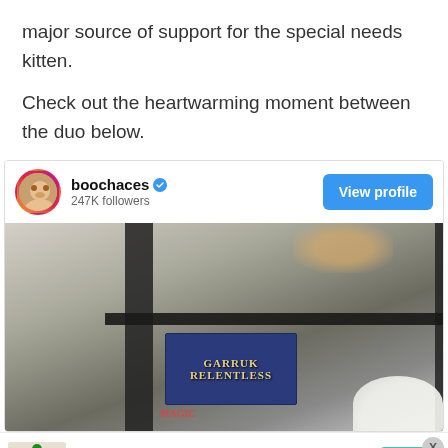major source of support for the special needs kitten.
Check out the heartwarming moment between the duo below.
[Figure (screenshot): Instagram embed showing user 'boochaces' with verified badge, 247K followers, a 'View profile' button, and a photo of a bookshelf/office scene with a cat.]
[Figure (infographic): Advertisement banner: '20 Elf on the Shelf Photos Not to Show Your Children' with SEE MORE button and X close button, featuring an Elf on the Shelf image.]